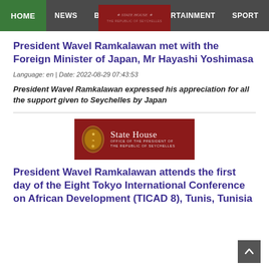HOME | NEWS | BUSINESS | ENTERTAINMENT | SPORT
President Wavel Ramkalawan met with the Foreign Minister of Japan, Mr Hayashi Yoshimasa
Language: en | Date: 2022-08-29 07:43:53
President Wavel Ramkalawan expressed his appreciation for all the support given to Seychelles by Japan
[Figure (logo): State House - Office of the President of the Republic of Seychelles banner logo on dark red background]
President Wavel Ramkalawan attends the first day of the Eight Tokyo International Conference on African Development (TICAD 8), Tunis, Tunisia